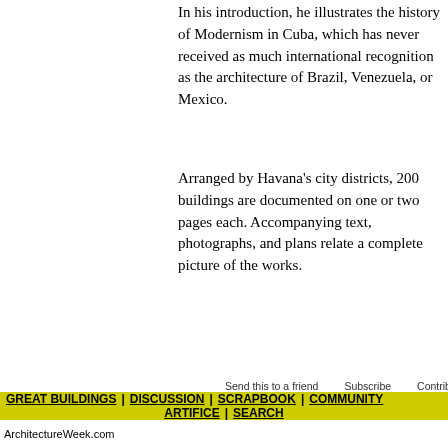In his introduction, he illustrates the history of Modernism in Cuba, which has never received as much international recognition as the architecture of Brazil, Venezuela, or Mexico.
Arranged by Havana's city districts, 200 buildings are documented on one or two pages each. Accompanying text, photographs, and plans relate a complete picture of the works.
Send this to a friend   Subscribe   Contribute   Adv
GREAT BUILDINGS  |  DISCUSSION  |  SCRAPBOOK  |  COMMUNITY  ARTIFICE  |  SEARCH
ArchitectureWeek.com